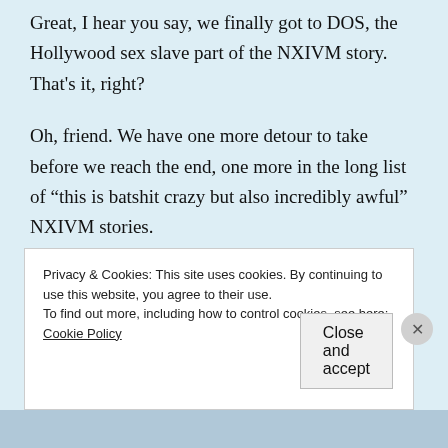Great, I hear you say, we finally got to DOS, the Hollywood sex slave part of the NXIVM story. That's it, right?
Oh, friend. We have one more detour to take before we reach the end, one more in the long list of “this is batshit crazy but also incredibly awful” NXIVM stories.
In 2016, the year after DOS was created, a group of NXIVM members agreed to participate in a
Privacy & Cookies: This site uses cookies. By continuing to use this website, you agree to their use.
To find out more, including how to control cookies, see here: Cookie Policy
Close and accept